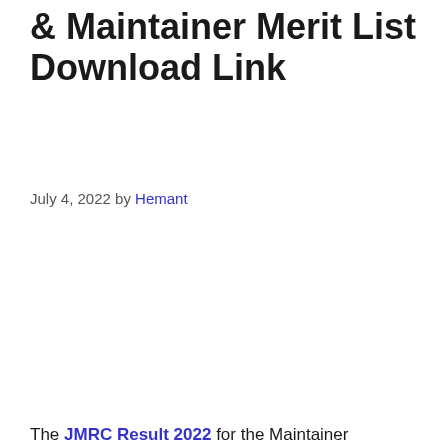JMRC Result 2022 – CRA & Maintainer Merit List Download Link
July 4, 2022 by Hemant
The JMRC Result 2022 for the Maintainer